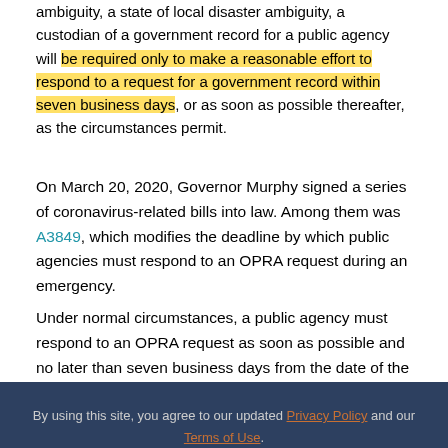ambiguity, a state of local disaster ambiguity, a custodian of a government record for a public agency will be required only to make a reasonable effort to respond to a request for a government record within seven business days, or as soon as possible thereafter, as the circumstances permit.
On March 20, 2020, Governor Murphy signed a series of coronavirus-related bills into law. Among them was A3849, which modifies the deadline by which public agencies must respond to an OPRA request during an emergency.
Under normal circumstances, a public agency must respond to an OPRA request as soon as possible and no later than seven business days from the date of the request. The amendment provides that:
During a period declared pursuant to the laws of this State as a state of emergency, public health emergency, or state of local disaster emergency, the deadlines by which to respond to a request for,
By using this site, you agree to our updated Privacy Policy and our Terms of Use.